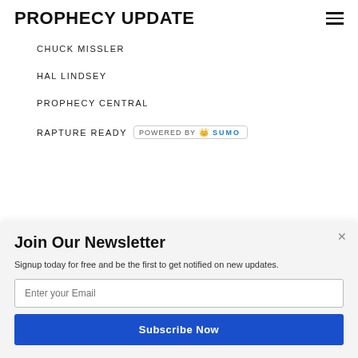PROPHECY UPDATE
CHUCK MISSLER
HAL LINDSEY
PROPHECY CENTRAL
RAPTURE READY
Join Our Newsletter
Signup today for free and be the first to get notified on new updates.
Enter your Email
Subscribe Now